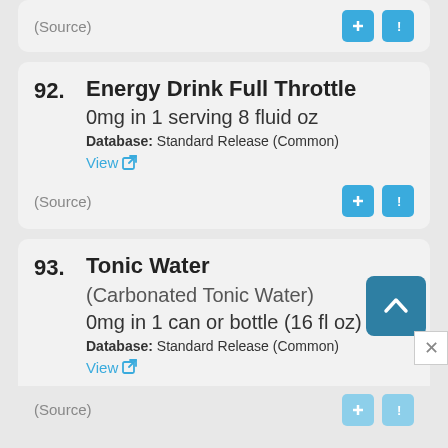(Source) [buttons: + and !]
92. Energy Drink Full Throttle
0mg in 1 serving 8 fluid oz
Database: Standard Release (Common)
View
(Source) [buttons: + and !]
93. Tonic Water
(Carbonated Tonic Water)
0mg in 1 can or bottle (16 fl oz)
Database: Standard Release (Common)
View
(Source) [buttons: + and !]